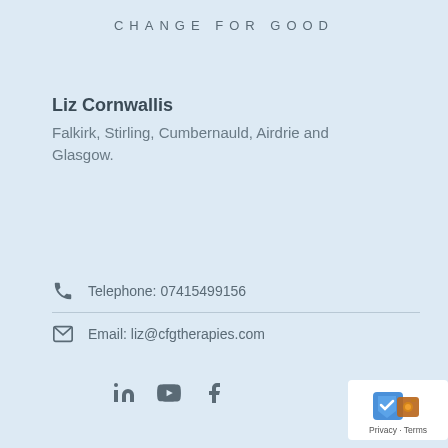CHANGE FOR GOOD
Liz Cornwallis
Falkirk, Stirling, Cumbernauld, Airdrie and Glasgow.
Telephone: 07415499156
Email: liz@cfgtherapies.com
[Figure (other): Social media icons: LinkedIn, YouTube, Facebook]
[Figure (other): Privacy badge with blue shield icon, Privacy - Terms text]